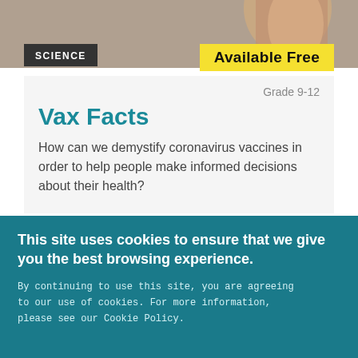[Figure (photo): Top portion of a person holding something, visible from waist up, cropped at top of page]
SCIENCE
[Figure (infographic): Yellow badge reading 'Available Free']
Grade 9-12
Vax Facts
How can we demystify coronavirus vaccines in order to help people make informed decisions about their health?
[Figure (photo): Blurred close-up photo of hands, dark background, partially visible]
This site uses cookies to ensure that we give you the best browsing experience.
By continuing to use this site, you are agreeing to our use of cookies. For more information, please see our Cookie Policy.